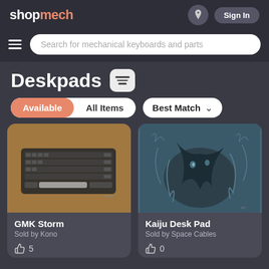shopmech — Sign In
Search for mechanical keyboards and parts
Deskpads
Available  All Items  Best Match
[Figure (screenshot): Product card: GMK Storm deskpad (brown mat with black mechanical keyboard). Sold by Kono. 5 likes.]
GMK Storm
Sold by Kono
👍 5
[Figure (screenshot): Product card: Kaiju Desk Pad with dark fantasy dragon artwork in teal/blue tones. Sold by Space Cables. 0 likes.]
Kaiju Desk Pad
Sold by Space Cables
👍 0